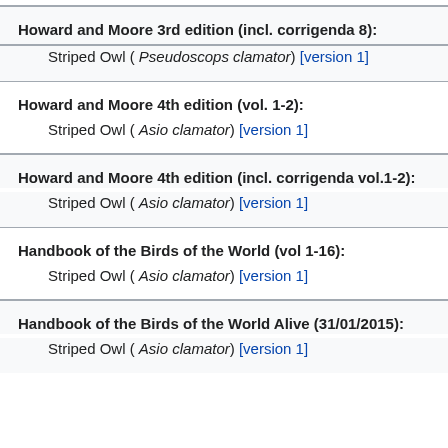Howard and Moore 3rd edition (incl. corrigenda 8):
Striped Owl ( Pseudoscops clamator) [version 1]
Howard and Moore 4th edition (vol. 1-2):
Striped Owl ( Asio clamator) [version 1]
Howard and Moore 4th edition (incl. corrigenda vol.1-2):
Striped Owl ( Asio clamator) [version 1]
Handbook of the Birds of the World (vol 1-16):
Striped Owl ( Asio clamator) [version 1]
Handbook of the Birds of the World Alive (31/01/2015):
Striped Owl ( Asio clamator) [version 1]